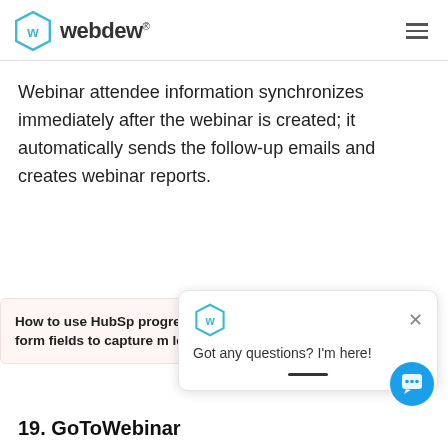webdew®
Webinar attendee information synchronizes immediately after the webinar is created; it automatically sends the follow-up emails and creates webinar reports.
How to use HubSp progressive form fields to capture m leads?
Got any questions? I'm here!
19. GoToWebinar